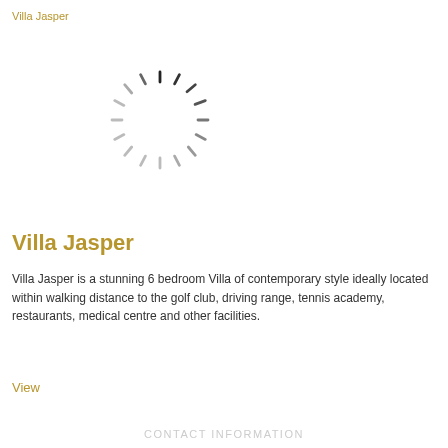Villa Jasper
[Figure (other): Loading spinner/throbber animation indicator — a circular arrangement of short dark dashes fading around the circumference]
Villa Jasper
Villa Jasper is a stunning 6 bedroom Villa of contemporary style ideally located within walking distance to the golf club, driving range, tennis academy, restaurants, medical centre and other facilities.
View
CONTACT INFORMATION